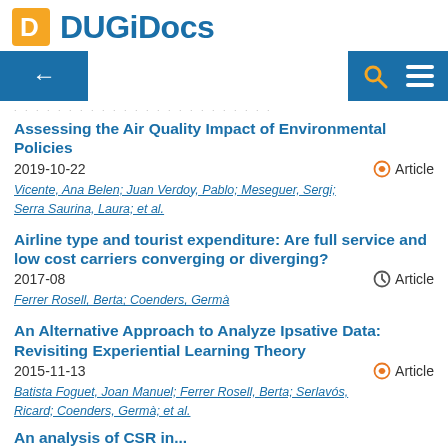DUGiDocs
Assessing the Air Quality Impact of Environmental Policies
2019-10-22   🔓 Article
Vicente, Ana Belen; Juan Verdoy, Pablo; Meseguer, Sergi; Serra Saurina, Laura; et al.
Airline type and tourist expenditure: Are full service and low cost carriers converging or diverging?
2017-08   🕐 Article
Ferrer Rosell, Berta; Coenders, Germà
An Alternative Approach to Analyze Ipsative Data: Revisiting Experiential Learning Theory
2015-11-13   🔓 Article
Batista Foguet, Joan Manuel; Ferrer Rosell, Berta; Serlavós, Ricard; Coenders, Germà; et al.
An analysis of CSR in...